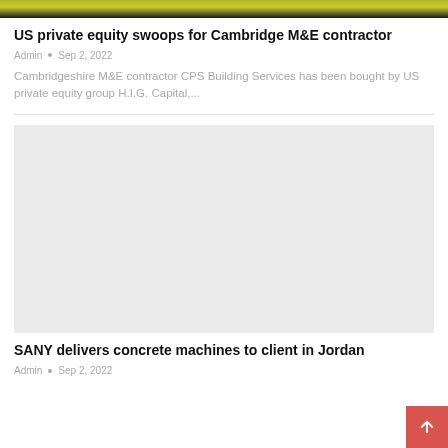[Figure (photo): Top portion of a photo showing yellow and dark background (partial crop of article image)]
US private equity swoops for Cambridge M&E contractor
Admin • Sep 2, 2022
Cambridgeshire M&E contractor CPS Building Services has been bought by US private equity group H.I.G. Capital,...
[Figure (photo): Light grey placeholder image for SANY article]
SANY delivers concrete machines to client in Jordan
Admin • Sep 2, 2022